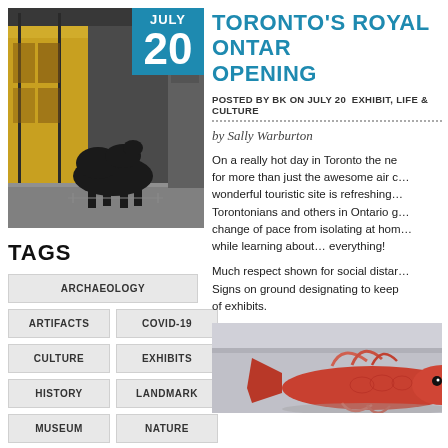[Figure (photo): Interior of Royal Ontario Museum with a large dark animal sculpture (camel or rhinoceros) in foreground, display cases along yellow-lit walls in background. Date badge showing JULY 20 in blue.]
TAGS
ARCHAEOLOGY
ARTIFACTS
COVID-19
CULTURE
EXHIBITS
HISTORY
LANDMARK
MUSEUM
NATURE
TORONTO'S ROYAL ONTARIO OPENING
POSTED BY BK ON JULY 20 EXHIBIT, LIFE & CULTURE
by Sally Warburton
On a really hot day in Toronto the ne... for more than just the awesome air c... wonderful touristic site is refreshing... Torontonians and others in Ontario g... change of pace from isolating at hom... while learning about... everything!
Much respect shown for social distar... Signs on ground designating to keep... of exhibits.
[Figure (photo): Close-up of a large red/orange fish specimen on display at the museum, showing detailed fins and scales against a light grey background.]